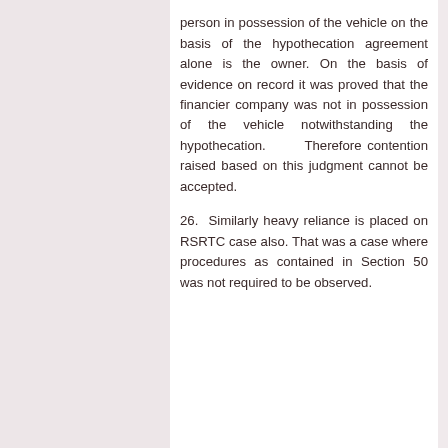person in possession of the vehicle on the basis of the hypothecation agreement alone is the owner. On the basis of evidence on record it was proved that the financier company was not in possession of the vehicle notwithstanding the hypothecation. Therefore contention raised based on this judgment cannot be accepted.
26. Similarly heavy reliance is placed on RSRTC case also. That was a case where procedures as contained in Section 50 was not required to be observed.